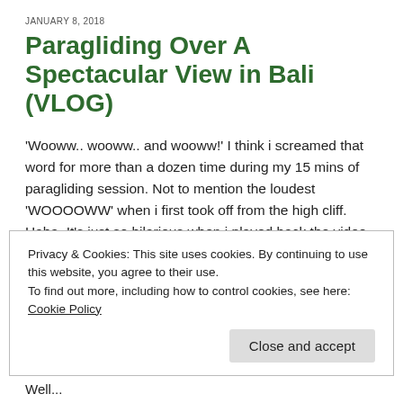JANUARY 8, 2018
Paragliding Over A Spectacular View in Bali (VLOG)
'Wooww.. wooww.. and wooww!' I think i screamed that word for more than a dozen time during my 15 mins of paragliding session. Not to mention the loudest 'WOOOOWW' when i first took off from the high cliff. Haha. It's just so hilarious when i played back the video.
Paragliding in Bali was an impromptu decision. I thought this round of trip to Bali will be full of work and relax, nothing on
Privacy & Cookies: This site uses cookies. By continuing to use this website, you agree to their use.
To find out more, including how to control cookies, see here: Cookie Policy
Close and accept
Well...